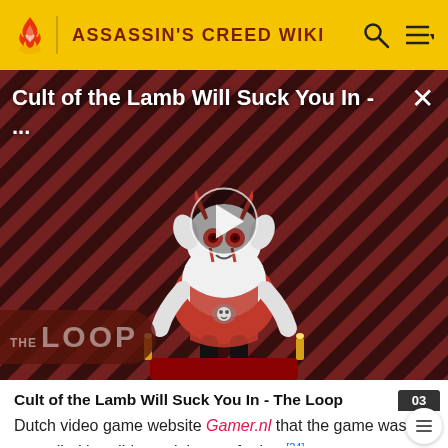ASSASSIN'S CREED WIKI
[Figure (screenshot): Video thumbnail for 'Cult of the Lamb Will Suck You In - ...' with The Loop branding, showing a cartoon lamb character on a dark diagonal striped background with a play button overlay]
Cult of the Lamb Will Suck You In - The Loop
Dutch video game website Gamer.nl that the game was cancelled but did not elaborate further.[24]
Unfortunately, because this statement was given by a